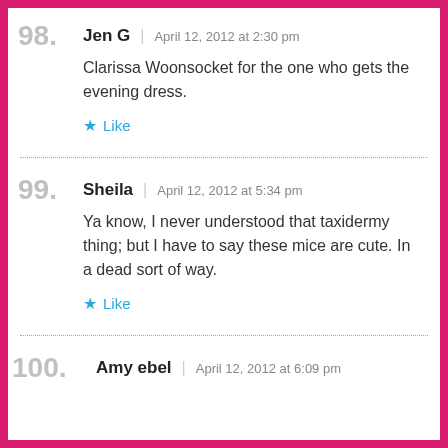98. Jen G | April 12, 2012 at 2:30 pm
Clarissa Woonsocket for the one who gets the evening dress.
★ Like
99. Sheila | April 12, 2012 at 5:34 pm
Ya know, I never understood that taxidermy thing; but I have to say these mice are cute. In a dead sort of way.
★ Like
100. Amy ebel | April 12, 2012 at 6:09 pm